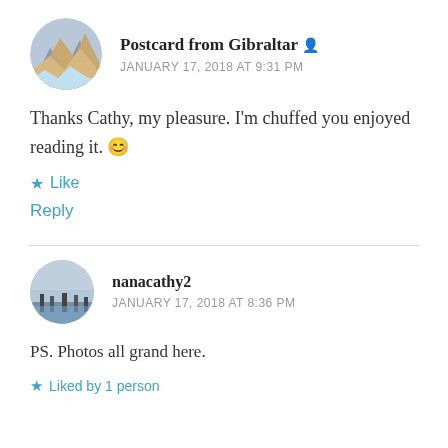[Figure (photo): Circular avatar photo showing a painted mountain landscape]
Postcard from Gibraltar
JANUARY 17, 2018 AT 9:31 PM
Thanks Cathy, my pleasure. I'm chuffed you enjoyed reading it. 😊
★ Like
Reply
[Figure (photo): Circular avatar photo showing a marina with sailboats]
nanacathy2
JANUARY 17, 2018 AT 8:36 PM
PS. Photos all grand here.
★ Liked by 1 person